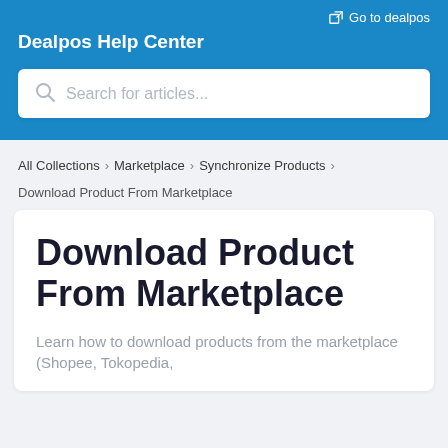Go to dealpos
Dealpos Help Center
Search for articles...
All Collections > Marketplace > Synchronize Products >
Download Product From Marketplace
Download Product From Marketplace
Learn how to download products from the marketplace (Shopee, Tokopedia,